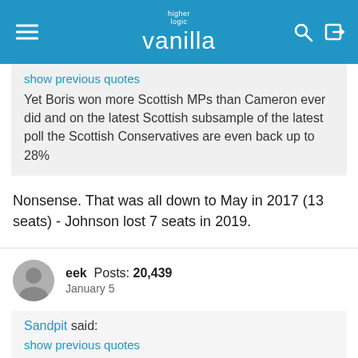higher logic vanilla
show previous quotes
Yet Boris won more Scottish MPs than Cameron ever did and on the latest Scottish subsample of the latest poll the Scottish Conservatives are even back up to 28%
Nonsense. That was all down to May in 2017 (13 seats) - Johnson lost 7 seats in 2019.
eek  Posts: 20,439
January 5
Sandpit said:
show previous quotes
The problem with that idea, would be that it